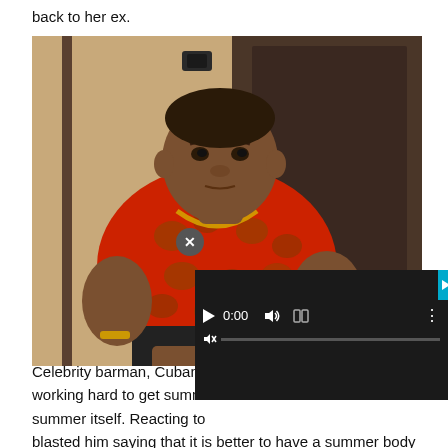back to her ex.
[Figure (photo): A heavyset man wearing a red patterned shirt with animal prints and a gold chain necklace and bracelet, seated against a door background. A video player overlay partially covers the lower portion with controls showing 0:00 timestamp and a close (X) button.]
Celebrity barman, Cubana working hard to get summe summer itself. Reacting to blasted him saying that it is better to have a summer body and